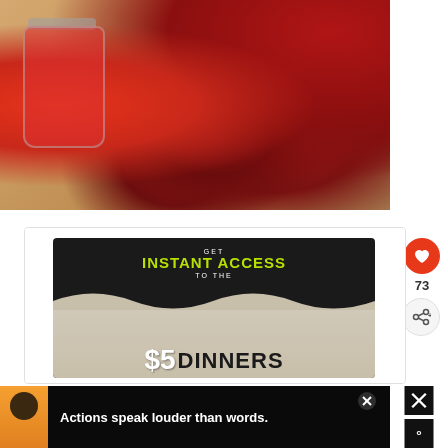[Figure (photo): Overhead photo of a mason jar filled with bright red cherry lemonade drink, fresh dark red cherries scattered on a wooden cutting board, and a large red apple in the upper right corner, on a dark background.]
[Figure (screenshot): Advertisement banner with dark background showing 'GET INSTANT ACCESS TO THE $5 DINNERS' text with green and white typography, with a food bowl graphic and wood-grain background on the lower portion.]
[Figure (infographic): Social interaction UI: heart/like button (red circle with heart icon showing count 73) and a share button below it.]
[Figure (screenshot): Bottom advertisement bar with dark background showing a person avatar on left, text 'Actions speak louder than words.' in white, and a close X button. Right side shows another X close button and degree symbol icon on dark background.]